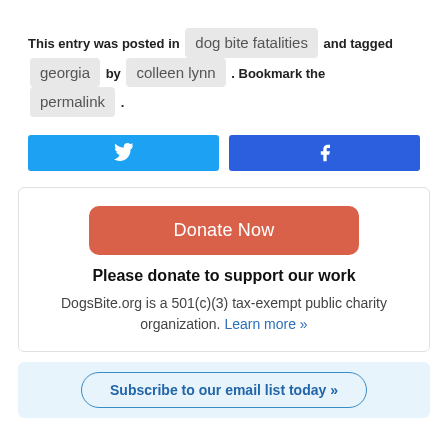This entry was posted in [dog bite fatalities] and tagged [georgia] by [colleen lynn]. Bookmark the [permalink].
[Figure (other): Twitter share button (blue) and Facebook share button (dark blue), side by side]
Donate Now
Please donate to support our work
DogsBite.org is a 501(c)(3) tax-exempt public charity organization. Learn more »
Subscribe to our email list today »